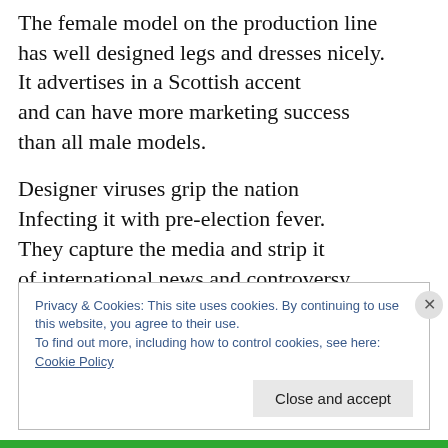The female model on the production line has well designed legs and dresses nicely. It advertises in a Scottish accent and can have more marketing success than all male models.
Designer viruses grip the nation Infecting it with pre-election fever. They capture the media and strip it of international news and controversy Issuing deliberately inaccurate information
Privacy & Cookies: This site uses cookies. By continuing to use this website, you agree to their use. To find out more, including how to control cookies, see here: Cookie Policy